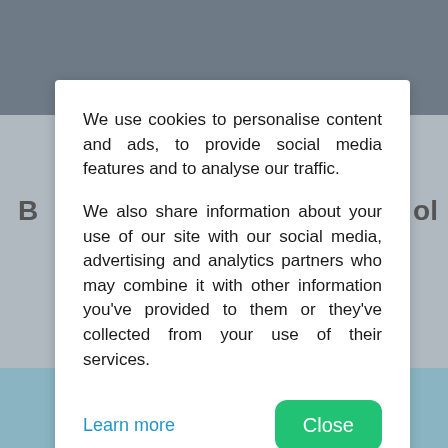[Figure (screenshot): Background webpage with crowd photo at top and map at bottom, with a cookie consent modal dialog overlaid in the center]
We use cookies to personalise content and ads, to provide social media features and to analyse our traffic.

We also share information about your use of our site with our social media, advertising and analytics partners who may combine it with other information you've provided to them or they've collected from your use of their services.
Learn more
Close